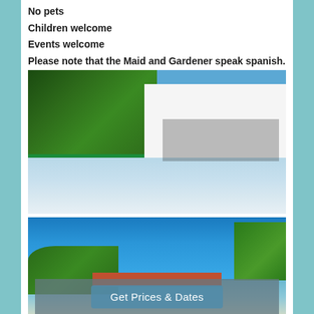No pets
Children welcome
Events welcome
Please note that the Maid and Gardener speak spanish.
[Figure (photo): Luxury villa with white modern architecture, infinity pool, outdoor seating area, and lush tropical trees in the background]
[Figure (photo): Coastal aerial or ground view with bright blue sky, palm trees, red rooftop buildings, ocean in the background and tropical greenery]
Get Prices & Dates